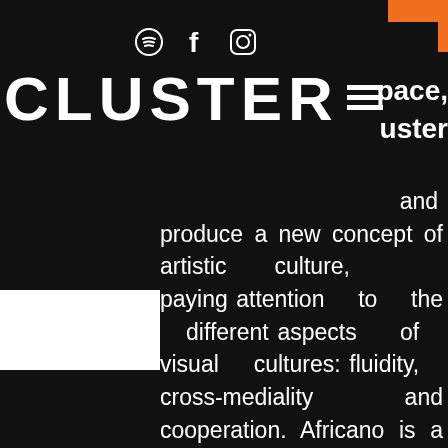[Figure (logo): Social media icons: Spotify circle, Facebook f, Instagram camera outline]
CLUSTER
pace, uster and produce a new concept of artistic culture, paying attention to the different aspects of visual cultures: fluidity, cross-mediality and cooperation. Africano is a fluid, ibrid and total space aimed at representing contemporaneity as a unique space through the meeting of different artistic disciplines united under the